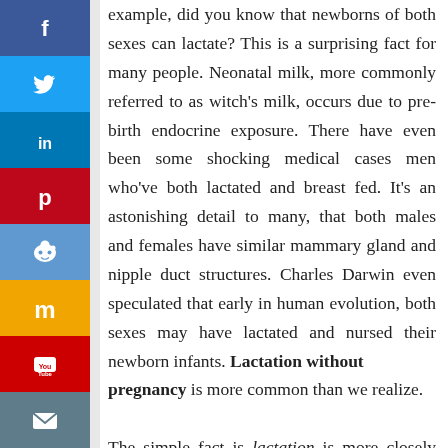[Figure (other): Vertical social media share button sidebar with icons for Facebook, Twitter, LinkedIn, Pinterest, Reddit, Mix, YouTube, and Email]
example, did you know that newborns of both sexes can lactate? This is a surprising fact for many people. Neonatal milk, more commonly referred to as witch's milk, occurs due to pre-birth endocrine exposure. There have even been some shocking medical cases men who've both lactated and breast fed. It's an astonishing detail to many, that both males and females have similar mammary gland and nipple duct structures. Charles Darwin even speculated that early in human evolution, both sexes may have lactated and nursed their newborn infants. Lactation without pregnancy is more common than we realize.

The simple fact is lactation is more closely associated with our body's hormonal changes